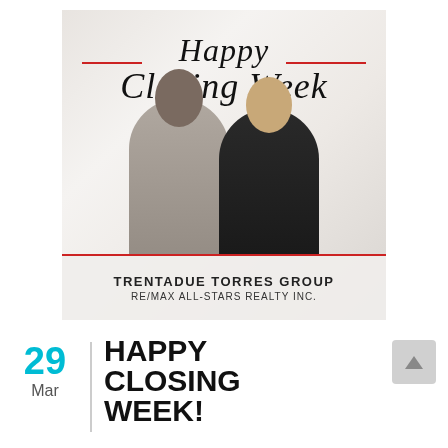[Figure (photo): A promotional real estate photo card showing two women standing in a bright white interior room. Cursive script overlay reads 'Happy Closing Week' with red decorative lines. Bottom banner reads 'TRENTADUE TORRES GROUP' and 'RE/MAX ALL-STARS REALTY INC.']
29
Mar
HAPPY CLOSING WEEK!